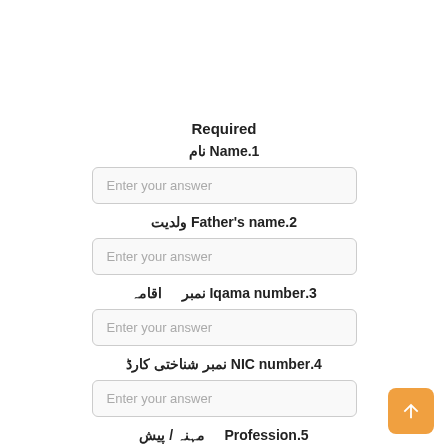Required
1.Name نام
Enter your answer
2.Father's name ولدیت
Enter your answer
3.Iqama number نمبر    اقامہ
Enter your answer
4.NIC number نمبر شناختی کارڈ
Enter your answer
5.Profession    مہنہ / پیش